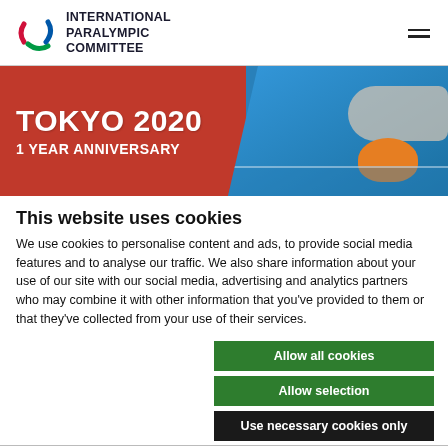INTERNATIONAL PARALYMPIC COMMITTEE
[Figure (illustration): Tokyo 2020 1 Year Anniversary banner with red background on left showing text and swimming photo on right with orange swim cap]
This website uses cookies
We use cookies to personalise content and ads, to provide social media features and to analyse our traffic. We also share information about your use of our site with our social media, advertising and analytics partners who may combine it with other information that you've provided to them or that they've collected from your use of their services.
Allow all cookies
Allow selection
Use necessary cookies only
Necessary  Preferences  Statistics  Marketing  Show details